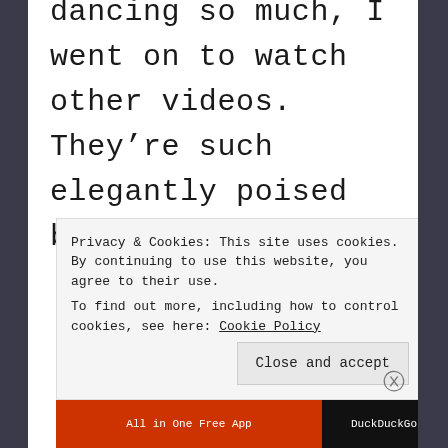I enjoyed their dancing so much, I went on to watch other videos. They're such elegantly poised birds! They even
Privacy & Cookies: This site uses cookies. By continuing to use this website, you agree to their use.
To find out more, including how to control cookies, see here: Cookie Policy

Close and accept